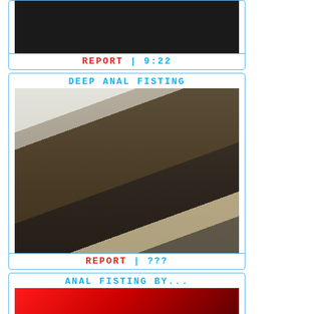[Figure (photo): Dark thumbnail image at top, partial view]
REPORT | 9:22
DEEP ANAL FISTING
[Figure (photo): Person in black leather outfit on reclining chair]
REPORT | ???
ANAL FISTING BY...
[Figure (photo): Red gradient thumbnail image]